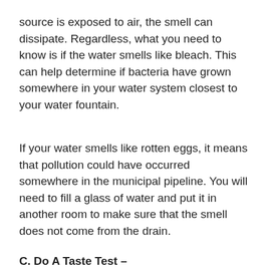source is exposed to air, the smell can dissipate. Regardless, what you need to know is if the water smells like bleach. This can help determine if bacteria have grown somewhere in your water system closest to your water fountain.
If your water smells like rotten eggs, it means that pollution could have occurred somewhere in the municipal pipeline. You will need to fill a glass of water and put it in another room to make sure that the smell does not come from the drain.
C. Do A Taste Test –
Also, not the most accurate test, but you can see if the water has a metallic taste. If so, it can mean excessive mineral content or a low pH. If the water has a strong taste of bleach, it means treatment with hydrochloric acid. The salty taste may indicate the presence of sulfate or chloride ions. These